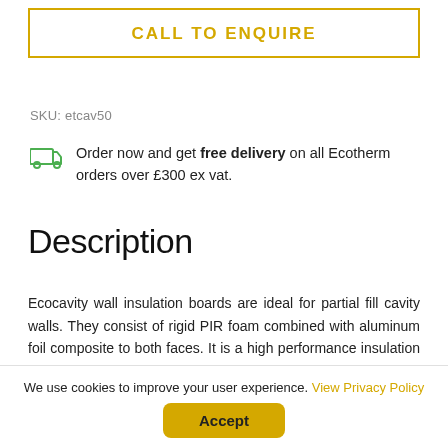CALL TO ENQUIRE
SKU: etcav50
Order now and get free delivery on all Ecotherm orders over £300 ex vat.
Description
Ecocavity wall insulation boards are ideal for partial fill cavity walls. They consist of rigid PIR foam combined with aluminum foil composite to both faces. It is a high performance insulation used as a partial cavity fills within traditionally built brick work walls. It is suitably sized so that the boards can co-ordinate with brick and block proportions and to allow the insertion of wall ties into the
We use cookies to improve your user experience. View Privacy Policy
Accept